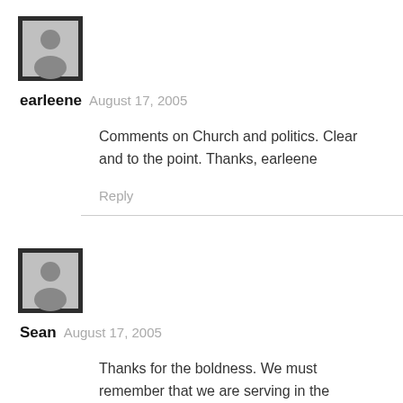[Figure (illustration): Gray avatar placeholder icon with dark gray/black border background for user earleene]
earleene  August 17, 2005
Comments on Church and politics. Clear and to the point. Thanks, earleene
Reply
[Figure (illustration): Gray avatar placeholder icon with dark gray/black border background for user Sean]
Sean  August 17, 2005
Thanks for the boldness. We must remember that we are serving in the kingdom of God and not the kingdom of this world. A great book that deals with this issue of how the church relates to politics by being the church is "Beyond Culture Wars. Is...